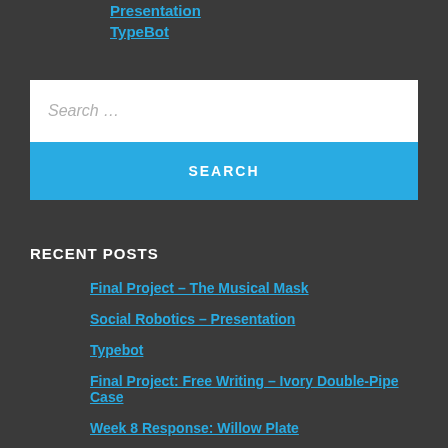Presentation
TypeBot
Search …
SEARCH
RECENT POSTS
Final Project – The Musical Mask
Social Robotics – Presentation
Typebot
Final Project: Free Writing – Ivory Double-Pipe Case
Week 8 Response: Willow Plate